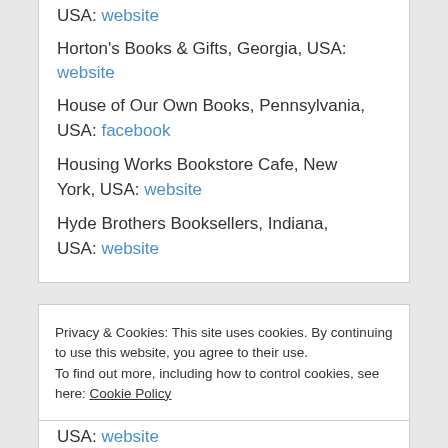USA: website
Horton's Books & Gifts, Georgia, USA: website
House of Our Own Books, Pennsylvania, USA: facebook
Housing Works Bookstore Cafe, New York, USA: website
Hyde Brothers Booksellers, Indiana, USA: website
Privacy & Cookies: This site uses cookies. By continuing to use this website, you agree to their use. To find out more, including how to control cookies, see here: Cookie Policy
Close and accept
USA: website